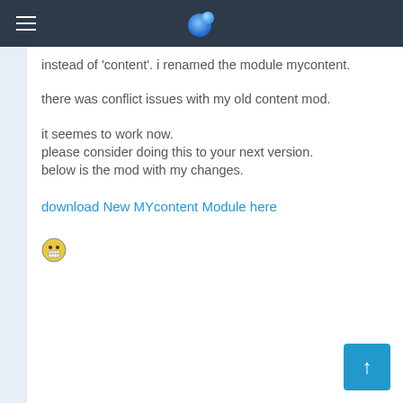[hamburger menu icon] [globe icon]
instead of 'content'. i renamed the module mycontent.
there was conflict issues with my old content mod.
it seemes to work now.
please consider doing this to your next version.
below is the mod with my changes.
download New MYcontent Module here
[Figure (other): smiley face emoji / emoticon icon]
[Figure (other): scroll to top button with upward arrow]